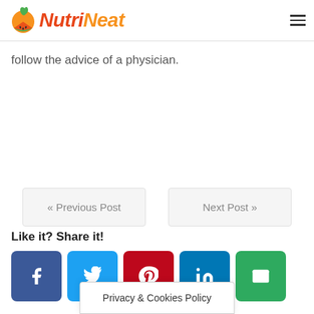NutriNeat
follow the advice of a physician.
« Previous Post
Next Post »
Like it? Share it!
[Figure (infographic): Social share buttons: Facebook, Twitter, Pinterest, LinkedIn, Email]
Privacy & Cookies Policy